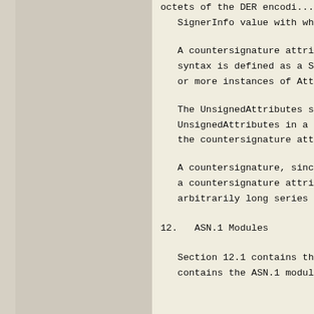octets of the DER encodi...
SignerInfo value with whi...
A countersignature attribute ca...
syntax is defined as a SET OF A...
or more instances of AttributeV...
The UnsignedAttributes syntax i...
UnsignedAttributes in a signerI...
the countersignature attribute.
A countersignature, since it ha...
a countersignature attribute. T...
arbitrarily long series of coun...
12.   ASN.1 Modules
Section 12.1 contains the ASN.1...
contains the ASN.1 module for t...